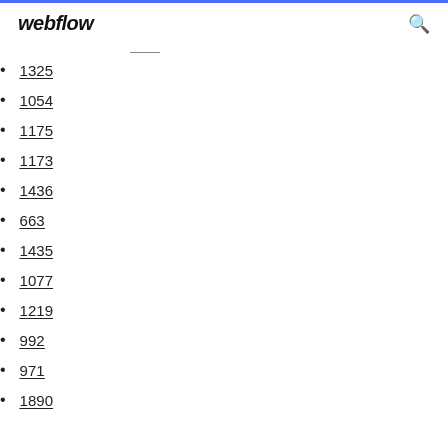webflow
1325
1054
1175
1173
1436
663
1435
1077
1219
992
971
1890